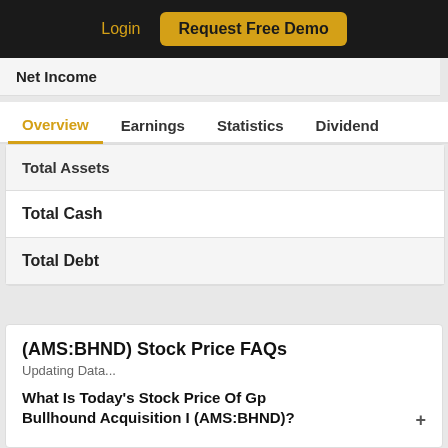Login  Request Free Demo
Net Income
Overview  Earnings  Statistics  Dividend
| Total Assets |
| Total Cash |
| Total Debt |
(AMS:BHND) Stock Price FAQs
Updating Data...
What Is Today's Stock Price Of Gp Bullhound Acquisition I (AMS:BHND)?  +